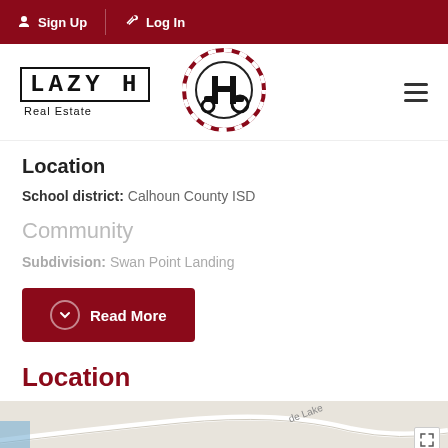Sign Up  Log In
[Figure (logo): Lazy H Real Estate logo with circular tractor emblem and hamburger menu icon]
Location
School district:  Calhoun County ISD
Community
Subdivision:  Swan Point Landing
Read More
Location
[Figure (map): Google Maps partial view showing location near a lake]